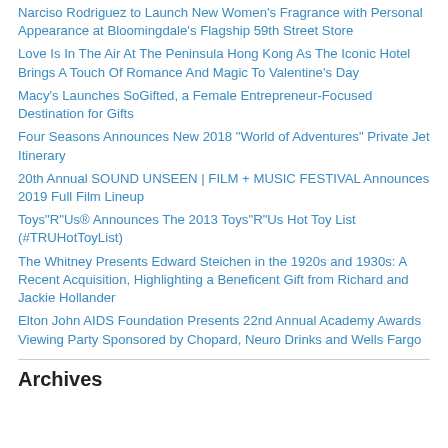Narciso Rodriguez to Launch New Women's Fragrance with Personal Appearance at Bloomingdale's Flagship 59th Street Store
Love Is In The Air At The Peninsula Hong Kong As The Iconic Hotel Brings A Touch Of Romance And Magic To Valentine's Day
Macy's Launches SoGifted, a Female Entrepreneur-Focused Destination for Gifts
Four Seasons Announces New 2018 "World of Adventures" Private Jet Itinerary
20th Annual SOUND UNSEEN | FILM + MUSIC FESTIVAL Announces 2019 Full Film Lineup
Toys"R"Us® Announces The 2013 Toys"R"Us Hot Toy List (#TRUHotToyList)
The Whitney Presents Edward Steichen in the 1920s and 1930s: A Recent Acquisition, Highlighting a Beneficent Gift from Richard and Jackie Hollander
Elton John AIDS Foundation Presents 22nd Annual Academy Awards Viewing Party Sponsored by Chopard, Neuro Drinks and Wells Fargo
Archives